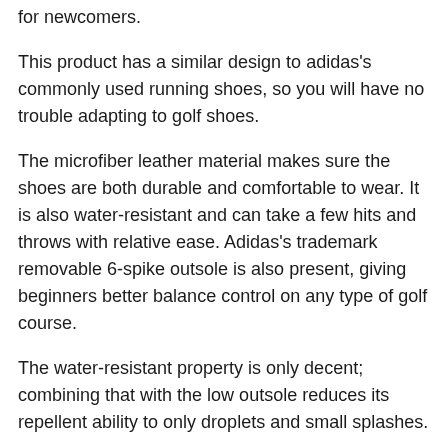for newcomers.
This product has a similar design to adidas's commonly used running shoes, so you will have no trouble adapting to golf shoes.
The microfiber leather material makes sure the shoes are both durable and comfortable to wear. It is also water-resistant and can take a few hits and throws with relative ease. Adidas's trademark removable 6-spike outsole is also present, giving beginners better balance control on any type of golf course.
The water-resistant property is only decent; combining that with the low outsole reduces its repellent ability to only droplets and small splashes.